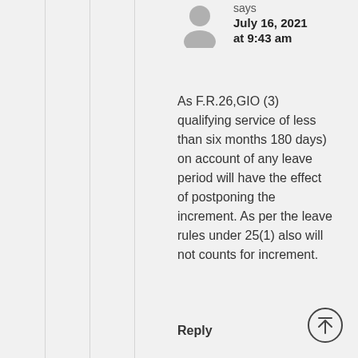says
July 16, 2021
at 9:43 am
As F.R.26,GIO (3) qualifying service of less than six months 180 days) on account of any leave period will have the effect of postponing the increment. As per the leave rules under 25(1) also will not counts for increment.
Reply